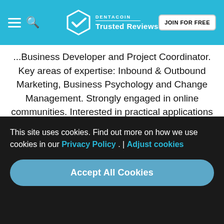Dentacoin Trusted Reviews — JOIN FOR FREE
...Business Developer and Project Coordinator. Key areas of expertise: Inbound & Outbound Marketing, Business Psychology and Change Management. Strongly engaged in online communities. Interested in practical applications of Blockchain and IoT.
RELATED POSTS
This site uses cookies. Find out more on how we use cookies in our Privacy Policy . | Adjust cookies
Accept All Cookies